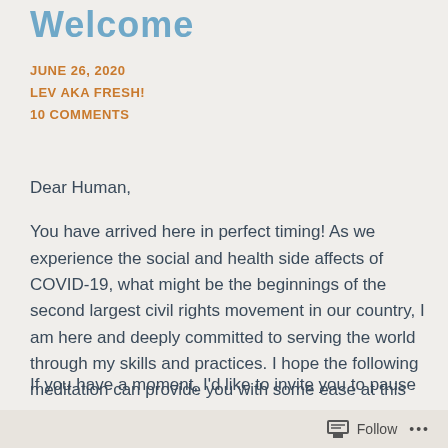Welcome
JUNE 26, 2020
LEV AKA FRESH!
10 COMMENTS
Dear Human,
You have arrived here in perfect timing! As we experience the social and health side affects of COVID-19, what might be the beginnings of the second largest civil rights movement in our country, I am here and deeply committed to serving the world through my skills and practices. I hope the following meditation can provide you with some ease at this time. Otherwise, please see the next heading, below.
If you have a moment, I'd like to invite you to pause and
Follow ...